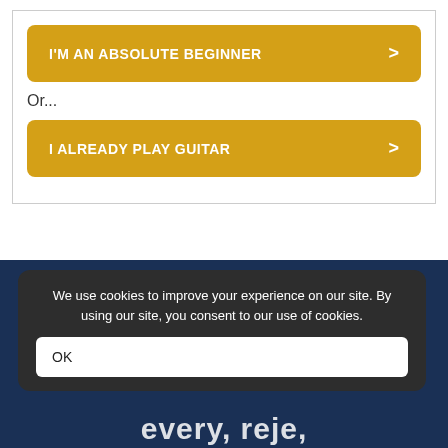[Figure (screenshot): Two golden call-to-action buttons inside a white card. First button: 'I'M AN ABSOLUTE BEGINNER' with right arrow. Second button: 'I ALREADY PLAY GUITAR' with right arrow. 'Or...' text between them.]
Or...
We use cookies to improve your experience on our site. By using our site, you consent to our use of cookies.
OK
every, reje,